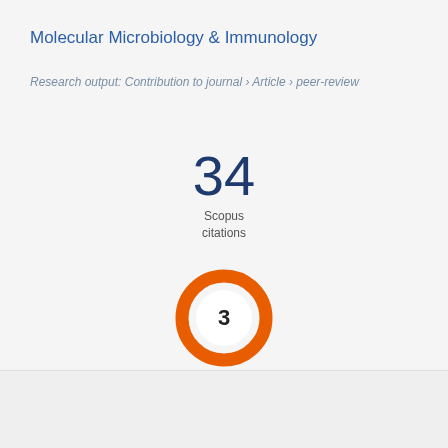Molecular Microbiology & Immunology
Research output: Contribution to journal › Article › peer-review
[Figure (other): Large number '34' displayed as Scopus citations count, with label 'Scopus citations' below]
[Figure (donut-chart): Orange donut chart with number 3 in the center]
Overview
Fingerprint